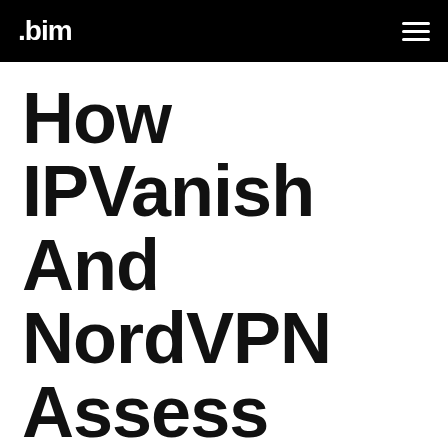.bim
How IPVanish And NordVPN Assess Against Other Services